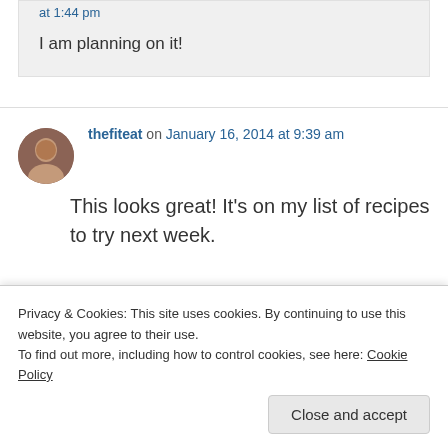at 1:44 pm
I am planning on it!
thefiteat on January 16, 2014 at 9:39 am
This looks great! It's on my list of recipes to try next week.
Privacy & Cookies: This site uses cookies. By continuing to use this website, you agree to their use.
To find out more, including how to control cookies, see here: Cookie Policy
Close and accept
2014 at 10:34 am